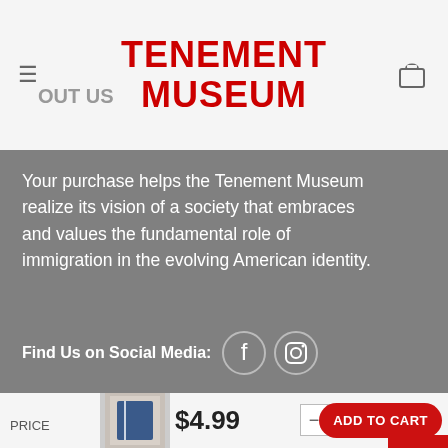TENEMENT MUSEUM
Your purchase helps the Tenement Museum realize its vision of a society that embraces and values the fundamental role of immigration in the evolving American identity.
Find Us on Social Media:
CUSTOMER SERVICE
Track your order
Shipping
Returns & Exchange
$4.99  -  1  +  ADD TO CART